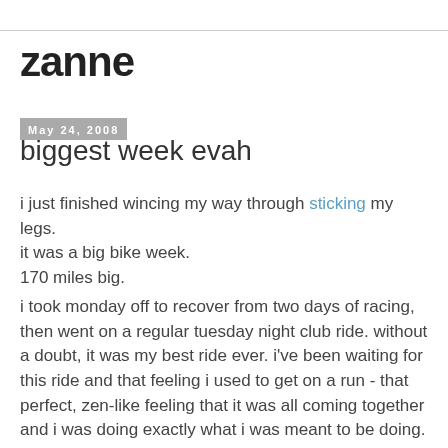zanne
May 24, 2008
biggest week evah
i just finished wincing my way through sticking my legs.
it was a big bike week.
170 miles big.
i took monday off to recover from two days of racing, then went on a regular tuesday night club ride. without a doubt, it was my best ride ever. i've been waiting for this ride and that feeling i used to get on a run - that perfect, zen-like feeling that it was all coming together and i was doing exactly what i was meant to be doing. i never had this on the bike - up until now it was on my list of things that the bike never gave me. but i got it big on tuesday. iambikergirlhearmeroar. seemeclimb. seemeride. i had more juice than i knew what to do with and i wanted to burn it all up on the ride. i kept trying